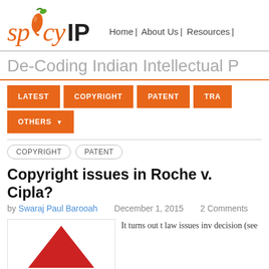[Figure (logo): SpicyIP logo with orange chili pepper graphic, orange italic 'spicy' text and bold 'IP' text]
Home | About Us | Resources |
De-Coding Indian Intellectual P
LATEST | COPYRIGHT | PATENT | TRA... | OTHERS
COPYRIGHT  PATENT
Copyright issues in Roche v. Cipla?
by Swaraj Paul Barooah   December 1, 2015   2 Comments
It turns out t law issues inv decision (see